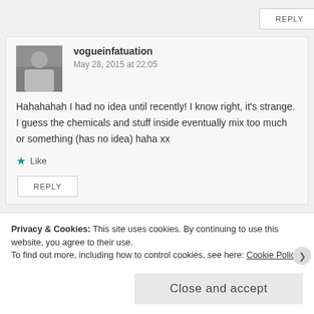REPLY
vogueinfatuation
May 28, 2015 at 22:05
Hahahahah I had no idea until recently! I know right, it's strange. I guess the chemicals and stuff inside eventually mix too much or something (has no idea) haha xx
Like
REPLY
Privacy & Cookies: This site uses cookies. By continuing to use this website, you agree to their use.
To find out more, including how to control cookies, see here: Cookie Policy
Close and accept